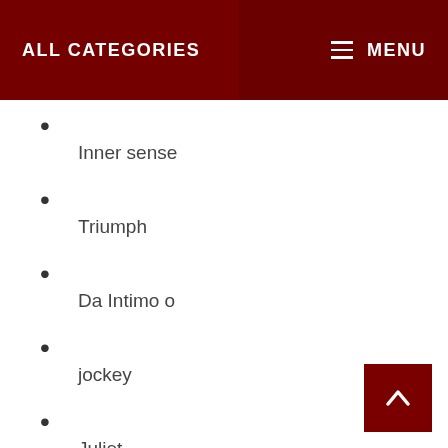ALL CATEGORIES   MENU
Inner sense
Triumph
Da Intimo o
jockey
Juliet
Loveable
La Senza